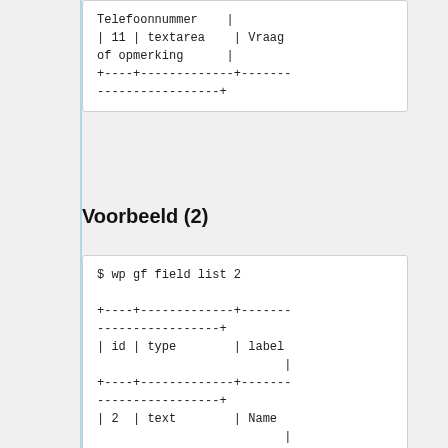Telefoonnummer    |
| 11 | textarea    | Vraag of opmerking       |
+----+--------------+--------
------------------+
Voorbeeld (2)
$ wp gf field list 2

+----+--------------+--------
------------------+
| id | type         | label                    |
+----+--------------+--------
------------------+
| 2  | text         | Name                     |
| 5  | email        | E-mailadres              |
| 16 | text         | Telefoonnummer           |
| 11 | textarea     | Vraag